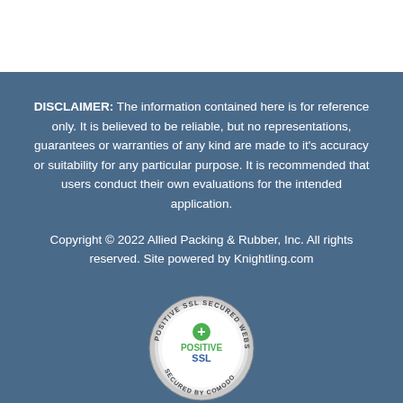DISCLAIMER: The information contained here is for reference only. It is believed to be reliable, but no representations, guarantees or warranties of any kind are made to it's accuracy or suitability for any particular purpose. It is recommended that users conduct their own evaluations for the intended application.
Copyright © 2022 Allied Packing & Rubber, Inc. All rights reserved. Site powered by Knightling.com
[Figure (logo): Positive SSL Secured Website badge — circular silver/gray badge with text 'POSITIVE SSL SECURED WEBSITE' around the outer ring and 'SECURED BY COMODO' on the lower ring, with a white inner circle containing a green plus/shield icon and 'POSITIVE SSL' in green and blue text.]